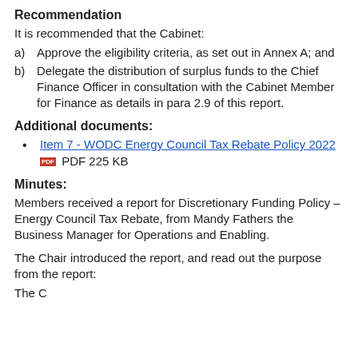Recommendation
It is recommended that the Cabinet:
a)  Approve the eligibility criteria, as set out in Annex A; and
b)  Delegate the distribution of surplus funds to the Chief Finance Officer in consultation with the Cabinet Member for Finance as details in para 2.9 of this report.
Additional documents:
Item 7 - WODC Energy Council Tax Rebate Policy 2022  PDF 225 KB
Minutes:
Members received a report for Discretionary Funding Policy – Energy Council Tax Rebate, from Mandy Fathers the Business Manager for Operations and Enabling.
The Chair introduced the report, and read out the purpose from the report:
The C...